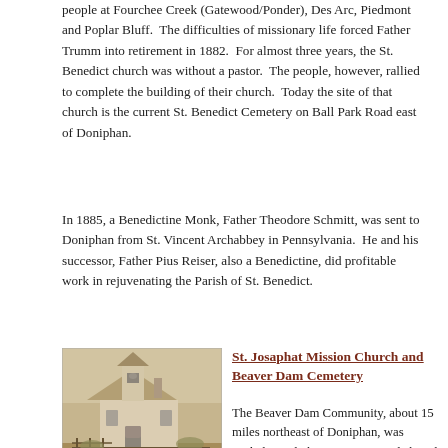people at Fourchee Creek (Gatewood/Ponder), Des Arc, Piedmont and Poplar Bluff.  The difficulties of missionary life forced Father Trumm into retirement in 1882.  For almost three years, the St. Benedict church was without a pastor.  The people, however, rallied to complete the building of their church.  Today the site of that church is the current St. Benedict Cemetery on Ball Park Road east of Doniphan.
In 1885, a Benedictine Monk, Father Theodore Schmitt, was sent to Doniphan from St. Vincent Archabbey in Pennsylvania.  He and his successor, Father Pius Reiser, also a Benedictine, did profitable work in rejuvenating the Parish of St. Benedict.
[Figure (photo): Sepia-toned photograph of a small white church building with a bell tower, wooden fence in foreground. Caption reads 'Church    Beaver Dam.']
St. Josaphat Mission Church and Beaver Dam Cemetery
The Beaver Dam Community, about 15 miles northeast of Doniphan, was settled mainly by Hungarian, Polish and German families around 1900.  Until 1959, when the St. Anne Mission Chapel at Grandin was built and began serving the Catholics of the Beaver Dam area,  the little St. Josaphat church was reached “over very